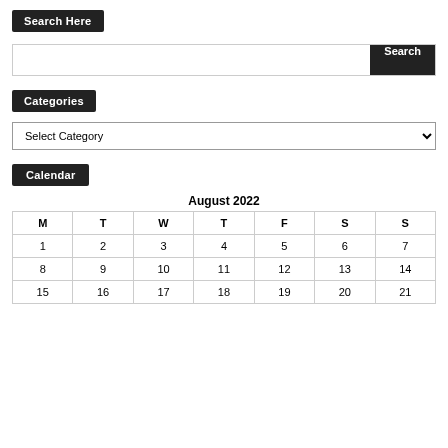Search Here
[Figure (screenshot): Search input bar with a text field and a dark 'Search' button on the right]
Categories
[Figure (screenshot): Dropdown select box labeled 'Select Category' with a chevron on the right]
Calendar
| M | T | W | T | F | S | S |
| --- | --- | --- | --- | --- | --- | --- |
| 1 | 2 | 3 | 4 | 5 | 6 | 7 |
| 8 | 9 | 10 | 11 | 12 | 13 | 14 |
| 15 | 16 | 17 | 18 | 19 | 20 | 21 |